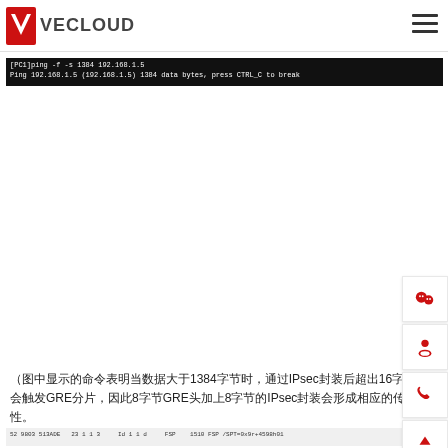VECLOUD
[Figure (screenshot): Terminal/command prompt screenshot showing: [PC1]ping -f -s 1384 192.168.1.5 / Ping 192.168.1.5 (192.168.1.5) 1384 data bytes, press CTRL_C to break]
（图中显示的命令表明当数据大于1384字节时，通过IPsec封装后超出16字节时会触发GRE分片，因此8字节GRE头加上8字节的IPsec封装会形成相应的传输特性。
[Figure (screenshot): Network packet capture table row showing: 52 9803 513ADE  23 1 1 3  Id 1 1 d  FSP  1510 FSP /SPT=0x9r+4598h01]